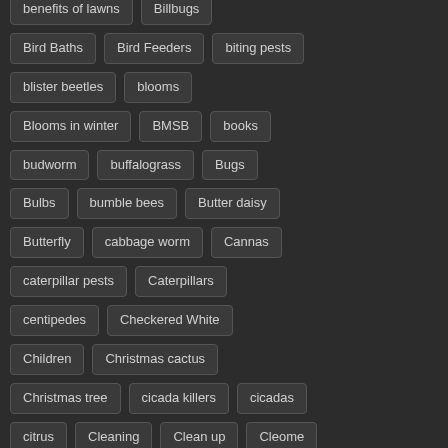benefits of lawns
Billbugs
Bird Baths
Bird Feeders
biting pests
blister beetles
blooms
Blooms in winter
BMSB
books
budworm
buffalograss
Bugs
Bulbs
bumble bees
Butter daisy
Butterfly
cabbage worm
Cannas
caterpillar pests
Caterpillars
centipedes
Checkered White
Children
Christmas cactus
Christmas tree
cicada killers
cicadas
citrus
Cleaning
Clean up
Cleome